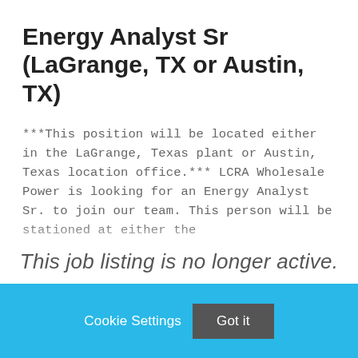Energy Analyst Sr (LaGrange, TX or Austin, TX)
***This position will be located either in the LaGrange, Texas plant or Austin, Texas location office.*** LCRA Wholesale Power is looking for an Energy Analyst Sr. to join our team. This person will be stationed at either the
This job listing is no longer active.
Cookie Settings
Got it
We use cookies so that we can remember you and understand how you use our site. If you do not agree with our use of cookies, please change the current settings found in our Cookie Policy. Otherwise, you agree to the use of the cookies as they are currently set.